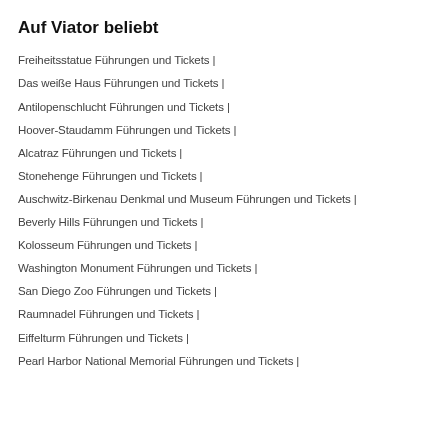Auf Viator beliebt
Freiheitsstatue Führungen und Tickets |
Das weiße Haus Führungen und Tickets |
Antilopenschlucht Führungen und Tickets |
Hoover-Staudamm Führungen und Tickets |
Alcatraz Führungen und Tickets |
Stonehenge Führungen und Tickets |
Auschwitz-Birkenau Denkmal und Museum Führungen und Tickets |
Beverly Hills Führungen und Tickets |
Kolosseum Führungen und Tickets |
Washington Monument Führungen und Tickets |
San Diego Zoo Führungen und Tickets |
Raumnadel Führungen und Tickets |
Eiffelturm Führungen und Tickets |
Pearl Harbor National Memorial Führungen und Tickets |